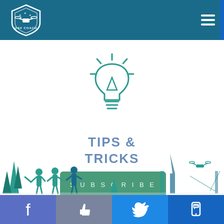UAV Coach - navigation header with logo and hamburger menu
[Figure (illustration): Teal outline lightbulb icon with rays emanating from it, representing tips and tricks]
TIPS & TRICKS
SUBSCRIBE
[Figure (illustration): Silhouette scene with trees and people (drone operators) in teal/blue tones with city skyline]
Social media icons: Facebook, Like/Thumbs up, Twitter, SMS/Chat